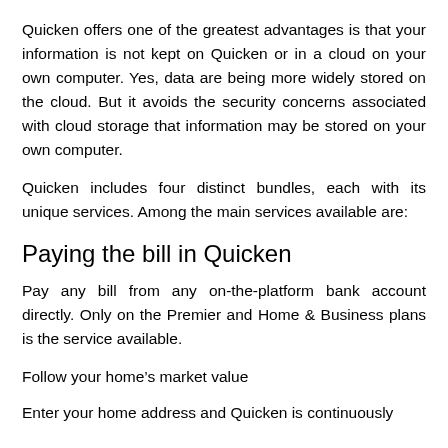Quicken offers one of the greatest advantages is that your information is not kept on Quicken or in a cloud on your own computer. Yes, data are being more widely stored on the cloud. But it avoids the security concerns associated with cloud storage that information may be stored on your own computer.
Quicken includes four distinct bundles, each with its unique services. Among the main services available are:
Paying the bill in Quicken
Pay any bill from any on-the-platform bank account directly. Only on the Premier and Home & Business plans is the service available.
Follow your home’s market value
Enter your home address and Quicken is continuously